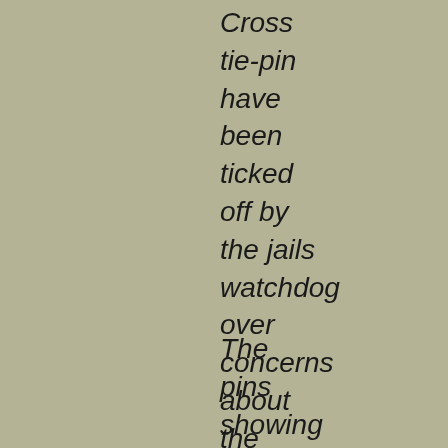Cross tie-pin have been ticked off by the jails watchdog over concerns about the symbol's racist connotations.
The pins showing the English